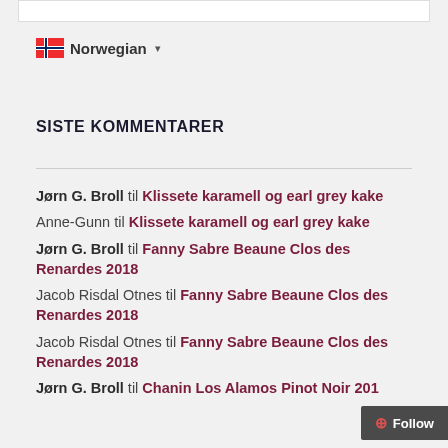[Figure (other): Norwegian flag icon with language selector showing 'Norwegian' text and dropdown arrow]
SISTE KOMMENTARER
Jørn G. Broll til Klissete karamell og earl grey kake
Anne-Gunn til Klissete karamell og earl grey kake
Jørn G. Broll til Fanny Sabre Beaune Clos des Renardes 2018
Jacob Risdal Otnes til Fanny Sabre Beaune Clos des Renardes 2018
Jacob Risdal Otnes til Fanny Sabre Beaune Clos des Renardes 2018
Jørn G. Broll til Chanin Los Alamos Pinot Noir 2017